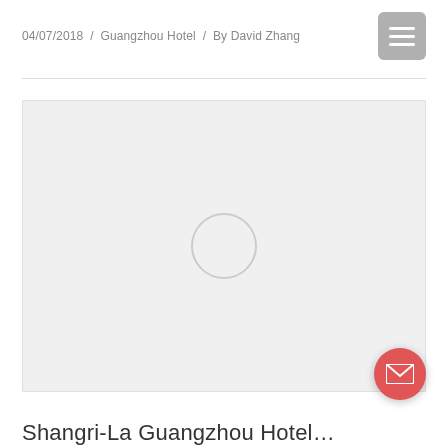04/07/2018  /  Guangzhou Hotel  /  By David Zhang
[Figure (photo): Large placeholder image area with a loading circle indicator in the center, light gray background]
Shangri-La Guangzhou Hotel...